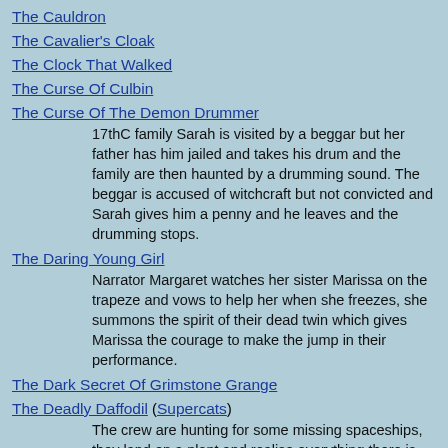The Cauldron
The Cavalier's Cloak
The Clock That Walked
The Curse Of Culbin
The Curse Of The Demon Drummer
17thC family Sarah is visited by a beggar but her father has him jailed and takes his drum and the family are then haunted by a drumming sound. The beggar is accused of witchcraft but not convicted and Sarah gives him a penny and he leaves and the drumming stops.
The Daring Young Girl
Narrator Margaret watches her sister Marissa on the trapeze and vows to help her when she freezes, she summons the spirit of their dead twin which gives Marissa the courage to make the jump in their performance.
The Dark Secret Of Grimstone Grange
The Deadly Daffodil (Supercats)
The crew are hunting for some missing spaceships, they land on a plant and realise everything there is an illusion, they